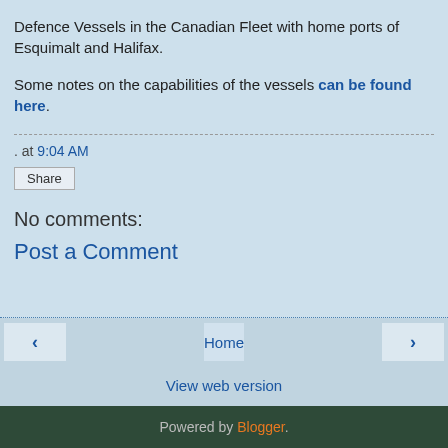Defence Vessels in the Canadian Fleet with home ports of Esquimalt and Halifax.
Some notes on the capabilities of the vessels can be found here.
. at 9:04 AM
Share
No comments:
Post a Comment
◄  Home  ►  View web version  Powered by Blogger.